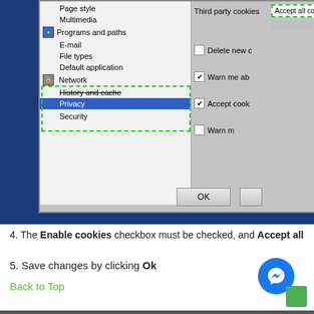[Figure (screenshot): Screenshot of a browser/application preferences dialog showing a left navigation panel with menu items (Page style, Multimedia, Programs and paths, E-mail, File types, Default application, Network, History and cache highlighted with dashed green border, Privacy selected in blue, Security) and right panel showing cookie settings (Third party cookies dropdown with dashed green border showing Accept all cookies, checkboxes for Delete new cookies, Warn me about, Accept cookies checked, Warn me). OK button visible at bottom.]
4. The Enable cookies checkbox must be checked, and Accept all
5. Save changes by clicking Ok
Back to Top